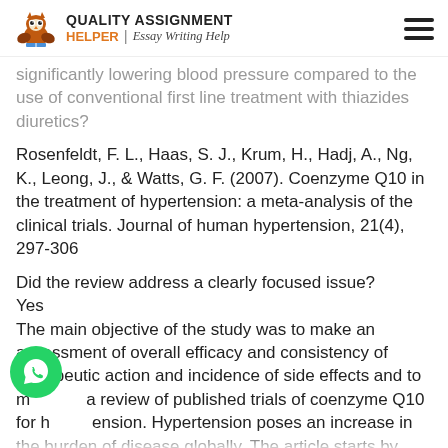QUALITY ASSIGNMENT HELPER | Essay Writing Help
significantly lowering blood pressure compared to the use of conventional first line treatment with thiazides diuretics?
Rosenfeldt, F. L., Haas, S. J., Krum, H., Hadj, A., Ng, K., Leong, J., & Watts, G. F. (2007). Coenzyme Q10 in the treatment of hypertension: a meta-analysis of the clinical trials. Journal of human hypertension, 21(4), 297-306
Did the review address a clearly focused issue?
Yes
The main objective of the study was to make an assessment of overall efficacy and consistency of therapeutic action and incidence of side effects and to make a review of published trials of coenzyme Q10 for hypertension. Hypertension poses an increase in the burden of disease globally. The article starts by